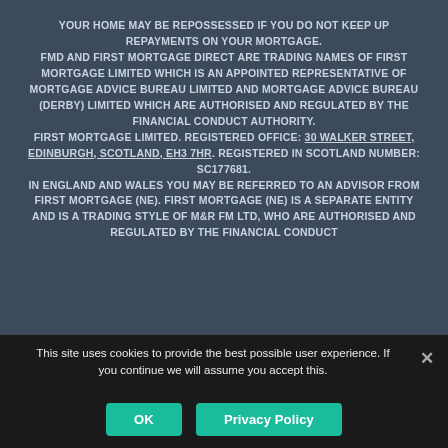YOUR HOME MAY BE REPOSSESSED IF YOU DO NOT KEEP UP REPAYMENTS ON YOUR MORTGAGE. FMD AND FIRST MORTGAGE DIRECT ARE TRADING NAMES OF FIRST MORTGAGE LIMITED WHICH IS AN APPOINTED REPRESENTATIVE OF MORTGAGE ADVICE BUREAU LIMITED AND MORTGAGE ADVICE BUREAU (DERBY) LIMITED WHICH ARE AUTHORISED AND REGULATED BY THE FINANCIAL CONDUCT AUTHORITY. FIRST MORTGAGE LIMITED. REGISTERED OFFICE: 30 WALKER STREET, EDINBURGH, SCOTLAND, EH3 7HR. REGISTERED IN SCOTLAND NUMBER: SC177681. IN ENGLAND AND WALES YOU MAY BE REFERRED TO AN ADVISOR FROM FIRST MORTGAGE (NE). FIRST MORTGAGE (NE) IS A SEPARATE ENTITY AND IS A TRADING STYLE OF M&R FM LTD, WHO ARE AUTHORISED AND REGULATED BY THE FINANCIAL CONDUCT
This site uses cookies to provide the best possible user experience. If you continue we will assume you accept this.